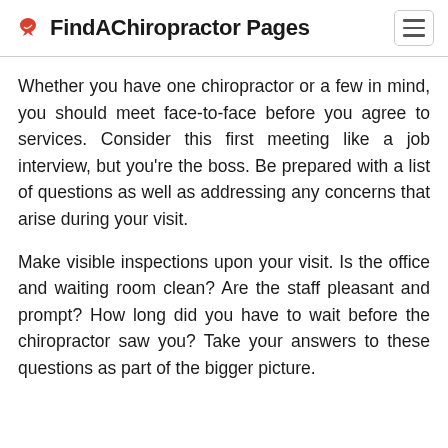FindAChiropractor Pages
Whether you have one chiropractor or a few in mind, you should meet face-to-face before you agree to services. Consider this first meeting like a job interview, but you're the boss. Be prepared with a list of questions as well as addressing any concerns that arise during your visit.
Make visible inspections upon your visit. Is the office and waiting room clean? Are the staff pleasant and prompt? How long did you have to wait before the chiropractor saw you? Take your answers to these questions as part of the bigger picture.